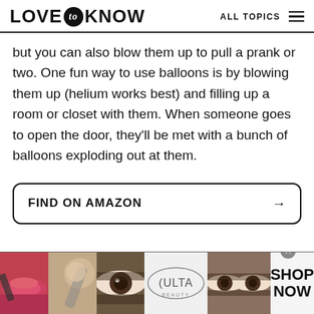LOVE to KNOW   ALL TOPICS
but you can also blow them up to pull a prank or two. One fun way to use balloons is by blowing them up (helium works best) and filling up a room or closet with them. When someone goes to open the door, they'll be met with a bunch of balloons exploding out at them.
[Figure (other): FIND ON AMAZON button with arrow, bordered rounded rectangle]
[Figure (other): Advertisement banner with beauty/makeup images, ULTA logo, and SHOP NOW text]